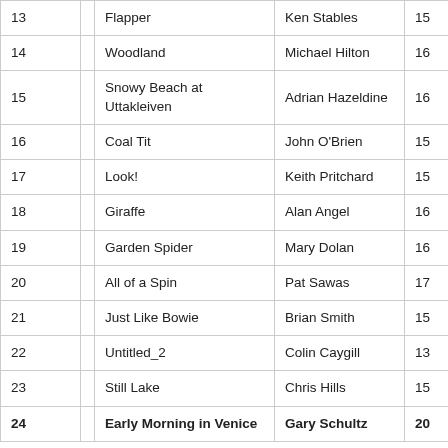| # |  | Title | Artist | Score |
| --- | --- | --- | --- | --- |
| 13 |  | Flapper | Ken Stables | 15 |
| 14 |  | Woodland | Michael Hilton | 16 |
| 15 |  | Snowy Beach at Uttakleiven | Adrian Hazeldine | 16 |
| 16 |  | Coal Tit | John O'Brien | 15 |
| 17 |  | Look! | Keith Pritchard | 15 |
| 18 |  | Giraffe | Alan Angel | 16 |
| 19 |  | Garden Spider | Mary Dolan | 16 |
| 20 |  | All of a Spin | Pat Sawas | 17 |
| 21 |  | Just Like Bowie | Brian Smith | 15 |
| 22 |  | Untitled_2 | Colin Caygill | 13 |
| 23 |  | Still Lake | Chris Hills | 15 |
| 24 |  | Early Morning in Venice | Gary Schultz | 20 |